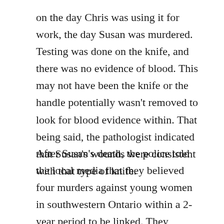on the day Chris was using it for work, the day Susan was murdered. Testing was done on the knife, and there was no evidence of blood. This may not have been the knife or the handle potentially wasn't removed to look for blood evidence within. That being said, the pathologist indicated that Susan's wounds were consistent with that type of knife.
After Susan's death, the police told the local media that they believed four murders against young women in southwestern Ontario within a 2-year period to be linked. They indicated that in 2 of the 3 earlier deaths, the women's throats